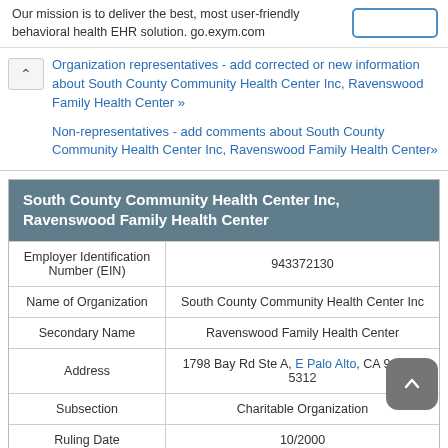Our mission is to deliver the best, most user-friendly behavioral health EHR solution. go.exym.com
Organization representatives - add corrected or new information about South County Community Health Center Inc, Ravenswood Family Health Center »
Non-representatives - add comments about South County Community Health Center Inc, Ravenswood Family Health Center»
| Field | Value |
| --- | --- |
| South County Community Health Center Inc, Ravenswood Family Health Center |  |
| Employer Identification Number (EIN) | 943372130 |
| Name of Organization | South County Community Health Center Inc |
| Secondary Name | Ravenswood Family Health Center |
| Address | 1798 Bay Rd Ste A, E Palo Alto, CA 94303-5312 |
| Subsection | Charitable Organization |
| Ruling Date | 10/2000 |
| Deductibility | Contributions are deductible |
| Foundation | Organization which receives a substantial part of its support from a governmental unit or the general public |